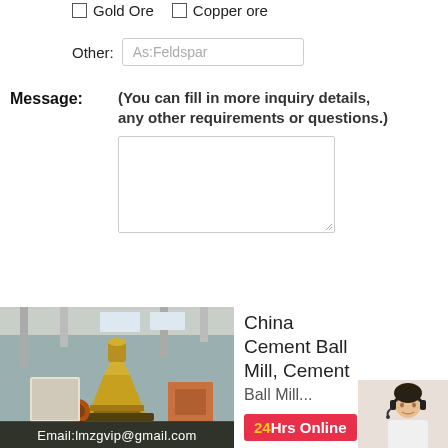Gold Ore   Copper ore
Other: As:Feldspar
Message:
(You can fill in more inquiry details, any other requirements or questions.)
Send Now
[Figure (photo): Industrial cone crusher machine (gold/yellow colored) in a factory setting with Email:lmzgvip@gmail.com overlay text]
China Cement Ball Mill, Cement Ball Mill...
24Hrs Online
[Figure (photo): Customer service agent wearing headset]